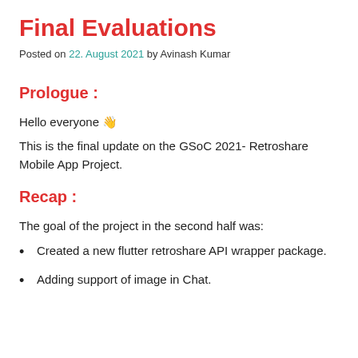Final Evaluations
Posted on 22. August 2021 by Avinash Kumar
Prologue :
Hello everyone 👋
This is the final update on the GSoC 2021- Retroshare Mobile App Project.
Recap :
The goal of the project in the second half was:
Created a new flutter retroshare API wrapper package.
Adding support of image in Chat.